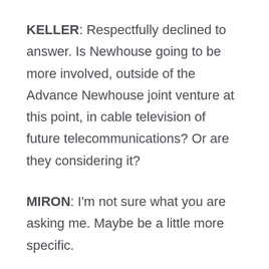KELLER: Respectfully declined to answer. Is Newhouse going to be more involved, outside of the Advance Newhouse joint venture at this point, in cable television of future telecommunications? Or are they considering it?
MIRON: I'm not sure what you are asking me. Maybe be a little more specific.
KELLER: Do you foresee the day when Newhouse will get back into it as a company